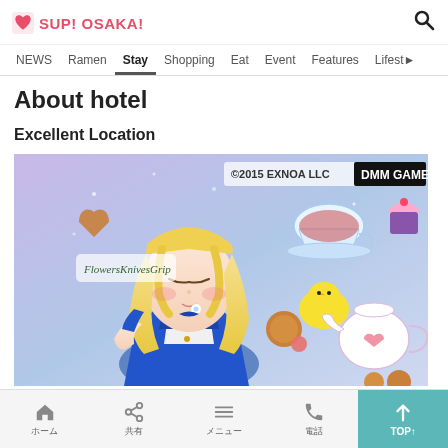SUP! OSAKA!
NEWS  Ramen  Stay  Shopping  Eat  Event  Features  Lifest
About hotel
Excellent Location
[Figure (illustration): Anime-style illustration of a blonde girl in a blue dress with cookies, teacups and pastries. Top right shows '©2015 EXNOA LLC' and 'DMM GAMES' logo.]
Home  Share  Menu  Phone  TOP